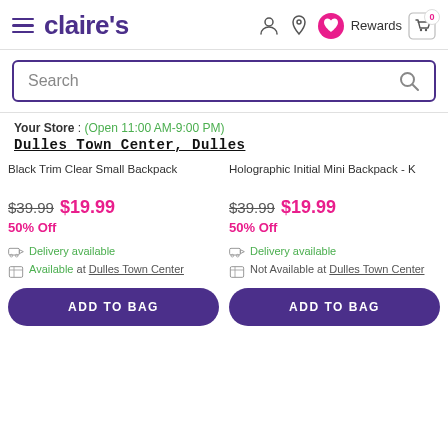Claire's — hamburger menu, logo, search, user icon, location icon, wishlist/heart icon, Rewards, cart (0)
Search
Your Store : (Open 11:00 AM-9:00 PM) Dulles Town Center, Dulles
Black Trim Clear Small Backpack — $39.99 $19.99 50% Off — Delivery available — Available at Dulles Town Center — ADD TO BAG
Holographic Initial Mini Backpack - K — $39.99 $19.99 50% Off — Delivery available — Not Available at Dulles Town Center — ADD TO BAG